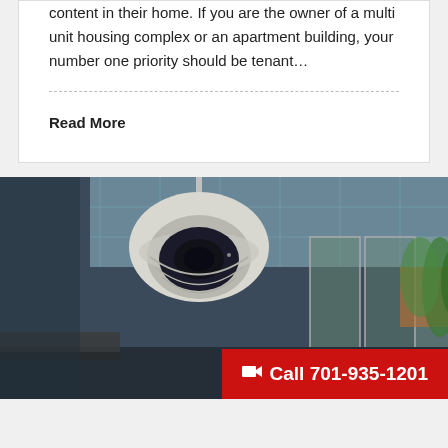content in their home. If you are the owner of a multi unit housing complex or an apartment building, your number one priority should be tenant...
Read More
[Figure (photo): A dome security camera (CCTV) mounted from ceiling in a modern commercial building interior with glass walls and greenery in background. Red call-to-action banner overlay at bottom right reading 'Call 701-935-1201'.]